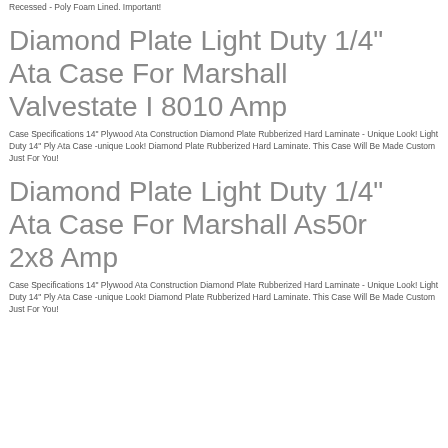Recessed - Poly Foam Lined. Important!
Diamond Plate Light Duty 1/4" Ata Case For Marshall Valvestate I 8010 Amp
Case Specifications 14" Plywood Ata Construction Diamond Plate Rubberized Hard Laminate - Unique Look! Light Duty 14" Ply Ata Case -unique Look! Diamond Plate Rubberized Hard Laminate. This Case Will Be Made Custom Just For You!
Diamond Plate Light Duty 1/4" Ata Case For Marshall As50r 2x8 Amp
Case Specifications 14" Plywood Ata Construction Diamond Plate Rubberized Hard Laminate - Unique Look! Light Duty 14" Ply Ata Case -unique Look! Diamond Plate Rubberized Hard Laminate. This Case Will Be Made Custom Just For You!